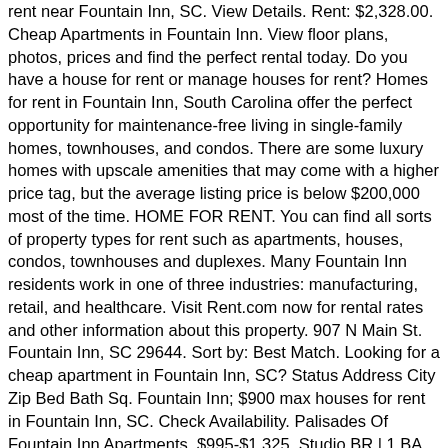rent near Fountain Inn, SC. View Details. Rent: $2,328.00. Cheap Apartments in Fountain Inn. View floor plans, photos, prices and find the perfect rental today. Do you have a house for rent or manage houses for rent? Homes for rent in Fountain Inn, South Carolina offer the perfect opportunity for maintenance-free living in single-family homes, townhouses, and condos. There are some luxury homes with upscale amenities that may come with a higher price tag, but the average listing price is below $200,000 most of the time. HOME FOR RENT. You can find all sorts of property types for rent such as apartments, houses, condos, townhouses and duplexes. Many Fountain Inn residents work in one of three industries: manufacturing, retail, and healthcare. Visit Rent.com now for rental rates and other information about this property. 907 N Main St. Fountain Inn, SC 29644. Sort by: Best Match. Looking for a cheap apartment in Fountain Inn, SC? Status Address City Zip Bed Bath Sq. Fountain Inn; $900 max houses for rent in Fountain Inn, SC. Check Availability. Palisades Of Fountain Inn Apartments. $995-$1,325. Studio BR | 1 BA. Click on a listing to view details, or refine your search for Fountain Inn apartments to search by price, beds and other criteria. 2.5 Bathrooms. View floor plans and use filters to refine your search. Bentwood Apartment Homes for rent in Fountain Inn, SC. Please enable Cookies and reload the page. 861